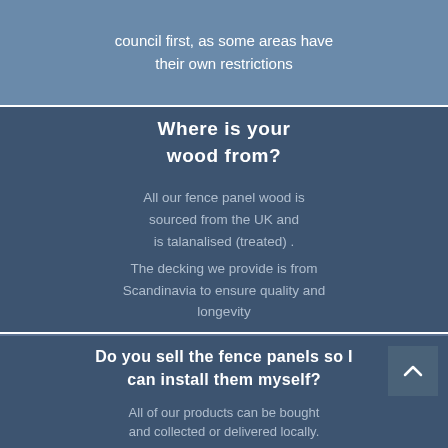council first, as some areas have their own restrictions
Where is your wood from?
All our fence panel wood is sourced from the UK and is talanalised (treated) .
The decking we provide is from Scandinavia to ensure quality and longevity
Do you sell the fence panels so I can install them myself?
All of our products can be bought and collected or delivered locally.